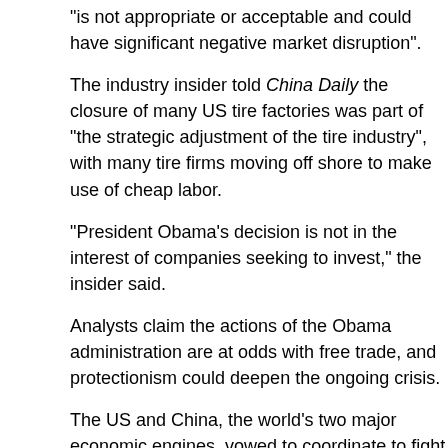"is not appropriate or acceptable and could have significant negative market disruption".
The industry insider told China Daily the closure of many US tire factories was part of "the strategic adjustment of the tire industry", with many tire firms moving off shore to make use of cheap labor.
"President Obama's decision is not in the interest of companies seeking to invest," the insider said.
Analysts claim the actions of the Obama administration are at odds with free trade, and protectionism could deepen the ongoing crisis.
The US and China, the world's two major economic engines, vowed to coordinate to fight the world recession but this dispute has caused friction before its top officials meet in Pittsburgh on Sept 24-25. Obama is also expected to visit China in November.
The tariff change has also sparked debate in the US.
USW's International President Leo Gerard hailed the tariff hike by saying "We live by and expect others to live by the rules, just as we do".